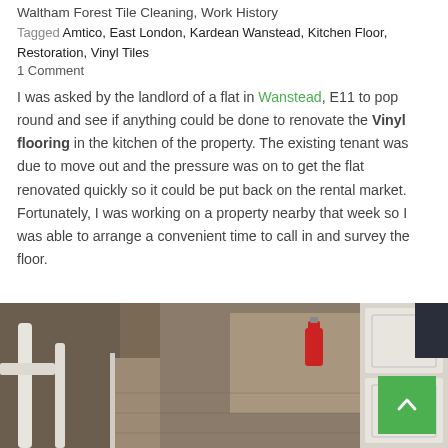Waltham Forest Tile Cleaning, Work History
Tagged Amtico, East London, Kardean Wanstead, Kitchen Floor, Restoration, Vinyl Tiles
1 Comment
I was asked by the landlord of a flat in Wanstead, E11 to pop round and see if anything could be done to renovate the Vinyl flooring in the kitchen of the property. The existing tenant was due to move out and the pressure was on to get the flat renovated quickly so it could be put back on the rental market. Fortunately, I was working on a property nearby that week so I was able to arrange a convenient time to call in and survey the floor.
[Figure (photo): Interior hallway/staircase photo showing worn vinyl/laminate flooring, white banister, and white kitchen cabinetry visible on the right side. A red fire extinguisher is visible in the background.]